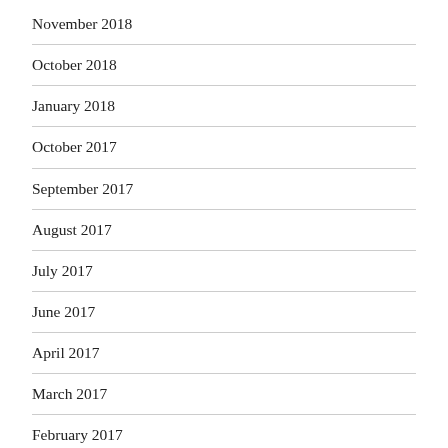November 2018
October 2018
January 2018
October 2017
September 2017
August 2017
July 2017
June 2017
April 2017
March 2017
February 2017